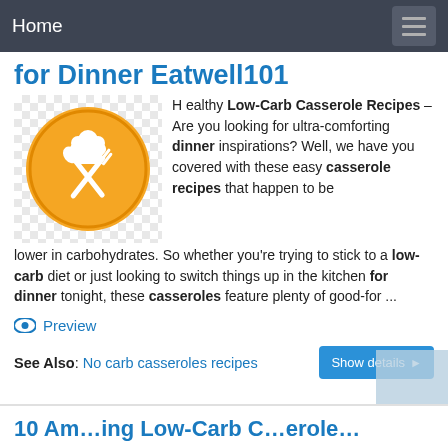Home
for Dinner Eatwell101
[Figure (logo): Orange circle with white chef hat and crossed spoon and fork icons on a checkered background]
H ealthy Low-Carb Casserole Recipes – Are you looking for ultra-comforting dinner inspirations? Well, we have you covered with these easy casserole recipes that happen to be lower in carbohydrates. So whether you're trying to stick to a low-carb diet or just looking to switch things up in the kitchen for dinner tonight, these casseroles feature plenty of good-for ...
Preview
See Also: No carb casseroles recipes